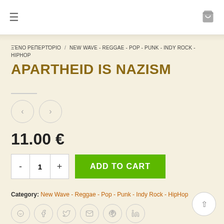≡  🛒
ΞΈΝΟ ΡΕΠΕΡΤΌΡΙΟ / NEW WAVE - REGGAE - POP - PUNK - INDY ROCK - HIPHOP
APARTHEID IS NAZISM
11.00 €
- 1 + ADD TO CART
Category: New Wave - Reggae - Pop - Punk - Indy Rock - HipHop